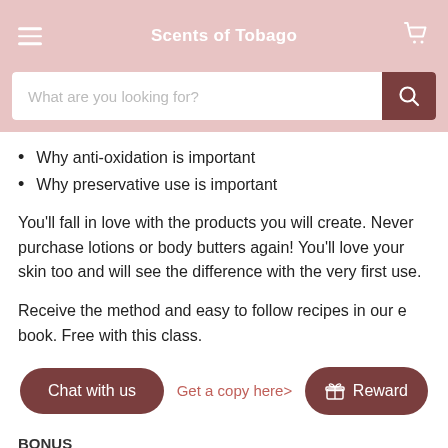Scents of Tobago
Why anti-oxidation is important
Why preservative use is important
You'll fall in love with the products you will create. Never purchase lotions or body butters again! You'll love your skin too and will see the difference with the very first use.
Receive the method and easy to follow recipes in our e book. Free with this class.
BONUS